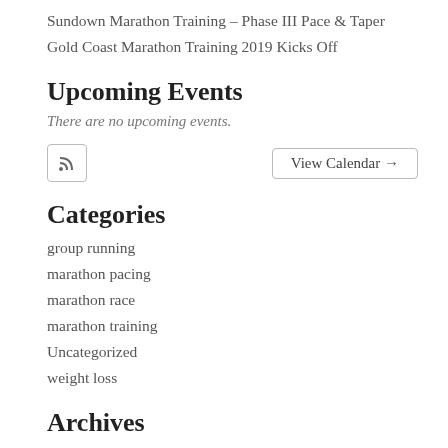Sundown Marathon Training – Phase III Pace & Taper
Gold Coast Marathon Training 2019 Kicks Off
Upcoming Events
There are no upcoming events.
RSS icon button | View Calendar →
Categories
group running
marathon pacing
marathon race
marathon training
Uncategorized
weight loss
Archives